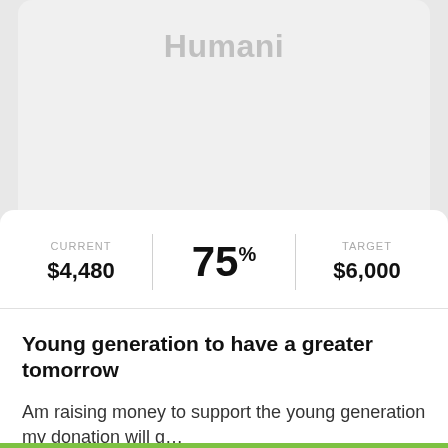Humani
CURRENT
$4,480
75%
TARGET
$6,000
Young generation to have a greater tomorrow
Am raising money to support the young generation my donation will g…